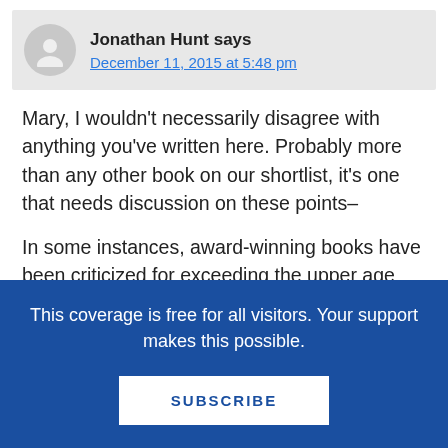Jonathan Hunt says
December 11, 2015 at 5:48 pm
Mary, I wouldn't necessarily disagree with anything you've written here. Probably more than any other book on our shortlist, it's one that needs discussion on these points–
In some instances, award-winning books have been criticized for exceeding the upper age limit of fourteen.
If a book is challenging, and suitable for 13-14-year-olds but not for younger
This coverage is free for all visitors. Your support makes this possible.
SUBSCRIBE